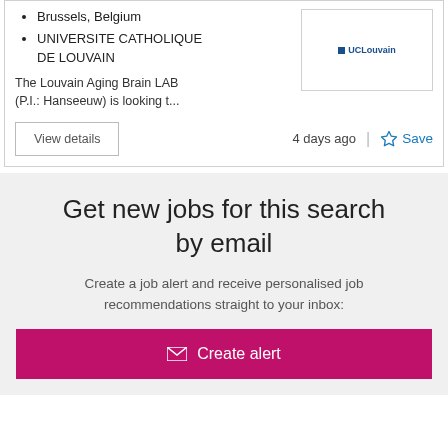Brussels, Belgium
UNIVERSITE CATHOLIQUE DE LOUVAIN
[Figure (logo): UCLouvain logo with small blue square and text]
The Louvain Aging Brain LAB (P.I.: Hanseeuw) is looking t...
View details
4 days ago
Save
Get new jobs for this search by email
Create a job alert and receive personalised job recommendations straight to your inbox:
Create alert